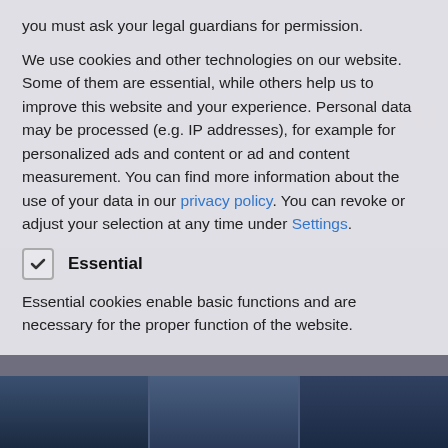you must ask your legal guardians for permission.
We use cookies and other technologies on our website. Some of them are essential, while others help us to improve this website and your experience. Personal data may be processed (e.g. IP addresses), for example for personalized ads and content or ad and content measurement. You can find more information about the use of your data in our privacy policy. You can revoke or adjust your selection at any time under Settings.
Essential
Essential cookies enable basic functions and are necessary for the proper function of the website.
[Figure (photo): Bottom portion of a website screenshot showing a building photo strip at the bottom, with gray background and watermark text 'Interview with Alejandro Arderius' and 'GENERAL MANAGER OF SULC IBÉRICA']